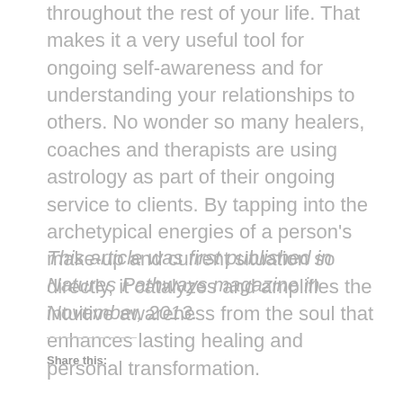throughout the rest of your life. That makes it a very useful tool for ongoing self-awareness and for understanding your relationships to others. No wonder so many healers, coaches and therapists are using astrology as part of their ongoing service to clients. By tapping into the archetypical energies of a person's make-up and current situation so directly, it catalyzes and amplifies the intuitive awareness from the soul that enhances lasting healing and personal transformation.
This article was first published in Natures Pathways magazine in November, 2013.
Share this: